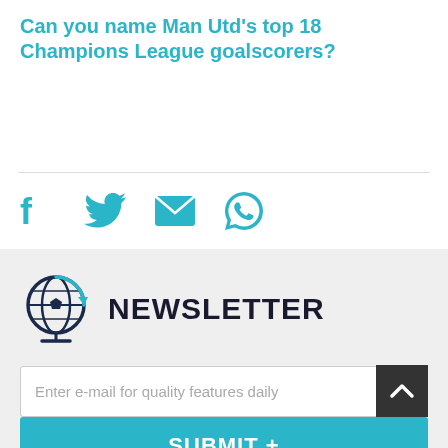Can you name Man Utd's top 18 Champions League goalscorers?
[Figure (infographic): Social share icons: Facebook, Twitter, Email, WhatsApp in teal color]
[Figure (logo): Globe/soccer ball newsletter logo with the text NEWSLETTER]
Enter e-mail for quality features daily
SUBMIT +